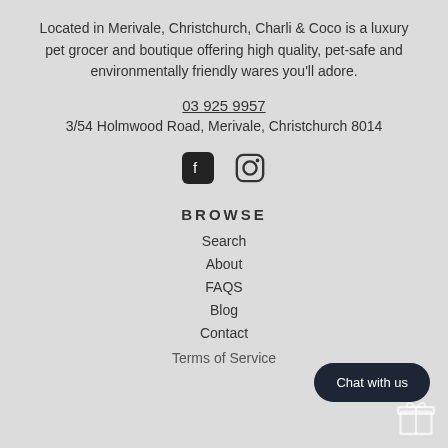Located in Merivale, Christchurch, Charli & Coco is a luxury pet grocer and boutique offering high quality, pet-safe and environmentally friendly wares you'll adore.
03 925 9957
3/54 Holmwood Road, Merivale, Christchurch 8014
[Figure (other): Facebook and Instagram social media icons]
BROWSE
Search
About
FAQS
Blog
Contact
Terms of Service
Chat with us